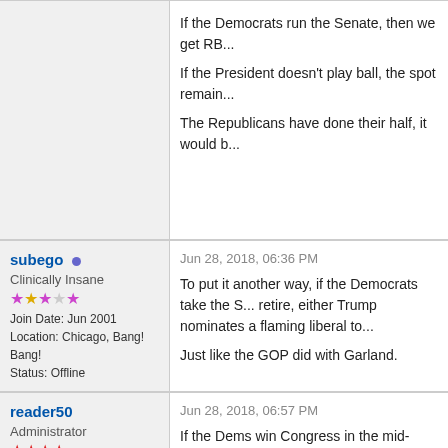If the Democrats run the Senate, then we get RB...
If the President doesn't play ball, the spot remain...
The Republicans have done their half, it would b...
subego
Clinically Insane
Join Date: Jun 2001
Location: Chicago, Bang! Bang!
Status: Offline
Jun 28, 2018, 06:36 PM
To put it another way, if the Democrats take the S... retire, either Trump nominates a flaming liberal to...
Just like the GOP did with Garland.
reader50
Administrator
Jun 28, 2018, 06:57 PM
If the Dems win Congress in the mid-terms, and... Garland? When checking the Constitution, I'm no...